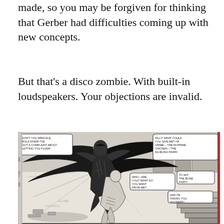made, so you may be forgiven for thinking that Gerber had difficulties coming up with new concepts.
But that's a disco zombie. With built-in loudspeakers. Your objections are invalid.
[Figure (illustration): Black and white comic book panel showing a caped superhero figure (resembling a hawk-themed character) in dynamic action, fighting or grappling with another figure, with speech bubbles and a cityscape background. The artwork is in classic Marvel/DC comic style.]